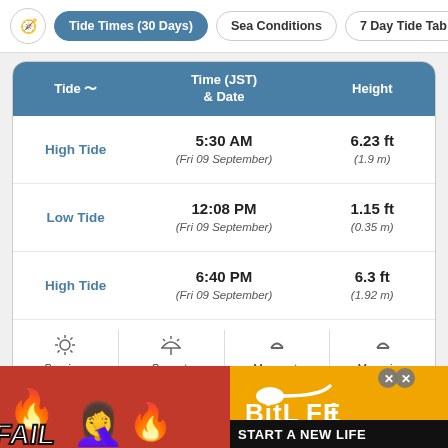Tide Times (30 Days) | Sea Conditions | 7 Day Tide Tab
| Tide | Time (JST) & Date | Height |
| --- | --- | --- |
| High Tide | 5:30 AM (Fri 09 September) | 6.23 ft (1.9 m) |
| Low Tide | 12:08 PM (Fri 09 September) | 1.15 ft (0.35 m) |
| High Tide | 6:40 PM (Fri 09 September) | 6.3 ft (1.92 m) |
Sunrise: 6:06AM | Sunset: 6:36PM | Moonset: 4:25AM | Moonrise: 6:09PM
[Figure (screenshot): BitLife advertisement banner with fire graphics and FAIL text]